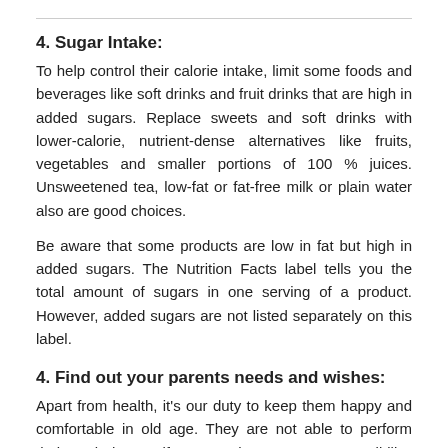4. Sugar Intake:
To help control their calorie intake, limit some foods and beverages like soft drinks and fruit drinks that are high in added sugars. Replace sweets and soft drinks with lower-calorie, nutrient-dense alternatives like fruits, vegetables and smaller portions of 100 % juices. Unsweetened tea, low-fat or fat-free milk or plain water also are good choices.
Be aware that some products are low in fat but high in added sugars. The Nutrition Facts label tells you the total amount of sugars in one serving of a product. However, added sugars are not listed separately on this label.
4. Find out your parents needs and wishes:
Apart from health, it's our duty to keep them happy and comfortable in old age. They are not able to perform their work them self so, now they are our responsibility. Ask their plans and wishes and best fulfill them at this...